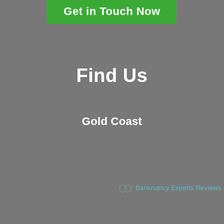[Figure (other): Green button with text 'Get in Touch Now' at the top of the page]
Find Us
Gold Coast
[Figure (logo): Small 'on' logo icon followed by 'Bankruptcy Experts Reviews' watermark text in teal/light blue]